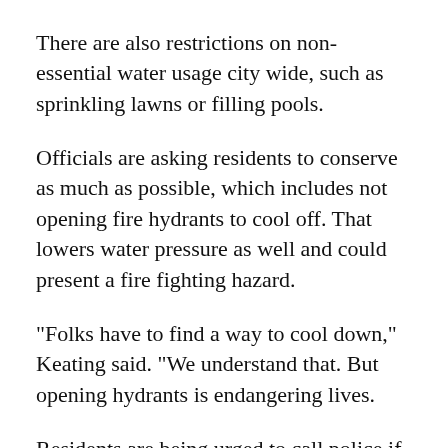There are also restrictions on non-essential water usage city wide, such as sprinkling lawns or filling pools.
Officials are asking residents to conserve as much as possible, which includes not opening fire hydrants to cool off. That lowers water pressure as well and could present a fire fighting hazard.
"Folks have to find a way to cool down," Keating said. "We understand that. But opening hydrants is endangering lives.
Residents are being urged to call police if they see anyone opening a hydrant, since it is against the law no matter how hot it may get.